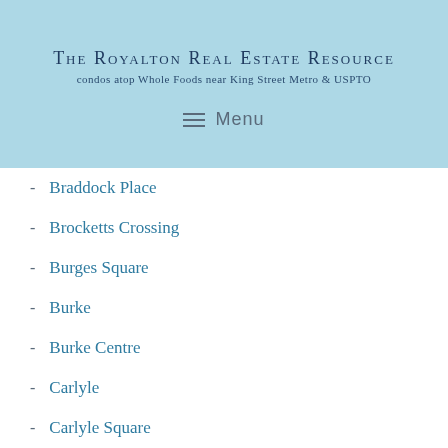The Royalton Real Estate Resource
condos atop Whole Foods near King Street Metro & USPTO
Menu
Braddock Place
Brocketts Crossing
Burges Square
Burke
Burke Centre
Carlyle
Carlyle Square
Carlyle Towers